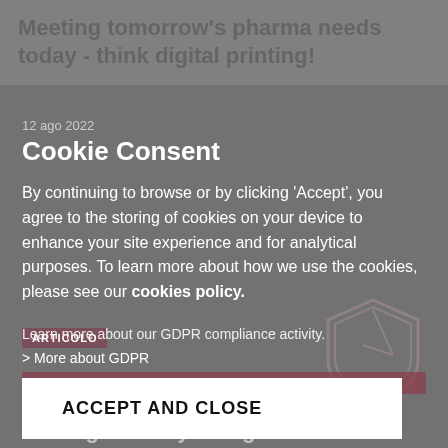Meeting tomorrow's pharma needs today - think digital printing!
12 ago 2022
Cookie Consent
By continuing to browse or by clicking 'Accept', you agree to the storing of cookies on your device to enhance your site experience and for analytical purposes. To learn more about how we use the cookies, please see our cookies policy.
ARTICOLO
ACCEPT AND CLOSE
Learn more about our GDPR compliance activity.
> More about GDPR